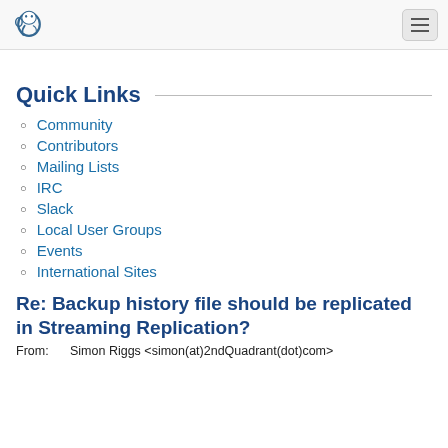PostgreSQL navigation bar with logo and hamburger menu
Quick Links
Community
Contributors
Mailing Lists
IRC
Slack
Local User Groups
Events
International Sites
Re: Backup history file should be replicated in Streaming Replication?
From:    Simon Riggs <simon(at)2ndQuadrant(dot)com>